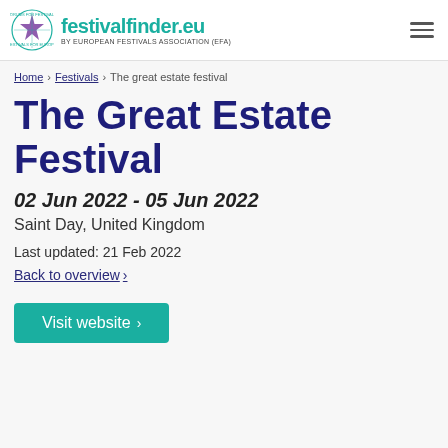festivalfinder.eu BY EUROPEAN FESTIVALS ASSOCIATION (EFA)
Home › Festivals › The great estate festival
The Great Estate Festival
02 Jun 2022 - 05 Jun 2022
Saint Day, United Kingdom
Last updated: 21 Feb 2022
Back to overview ›
Visit website ›